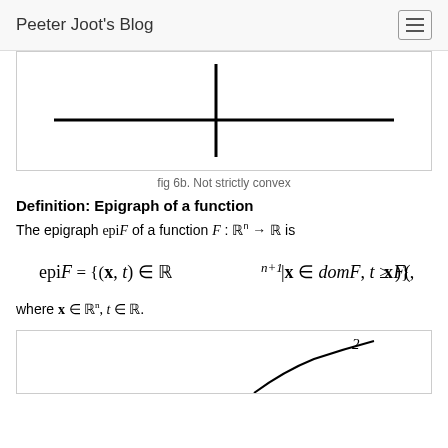Peeter Joot's Blog
[Figure (illustration): A coordinate axis cross (two perpendicular lines), representing a not-strictly-convex function illustration.]
fig 6b. Not strictly convex
Definition: Epigraph of a function
The epigraph epiF of a function F : R^n → R is
where x ∈ R^n, t ∈ R.
[Figure (illustration): Partial figure at bottom of page, appears to show a curve/graph, cut off at bottom.]